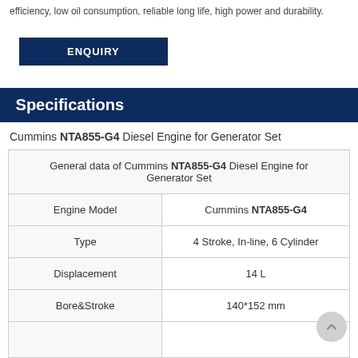efficiency, low oil consumption, reliable long life, high power and durability.
ENQUIRY
Specifications
Cummins NTA855-G4 Diesel Engine for Generator Set
| General data of Cummins NTA855-G4 Diesel Engine for Generator Set |
| --- |
| Engine Model | Cummins NTA855-G4 |
| Type | 4 Stroke, In-line, 6 Cylinder |
| Displacement | 14 L |
| Bore&Stroke | 140*152 mm |